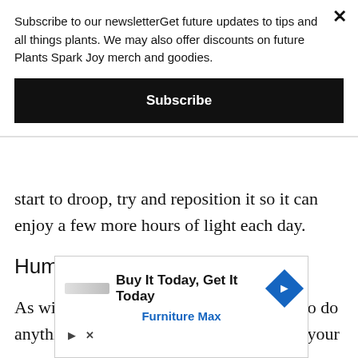Subscribe to our newsletterGet future updates to tips and all things plants. We may also offer discounts on future Plants Spark Joy merch and goodies.
Subscribe
start to droop, try and reposition it so it can enjoy a few more hours of light each day.
Humidity
As with all desert plants, you don't need to do anything to increase the humidity around your
[Figure (other): Advertisement banner: 'Buy It Today, Get It Today' with Furniture Max branding and blue diamond navigation icon. Contains play and close controls.]